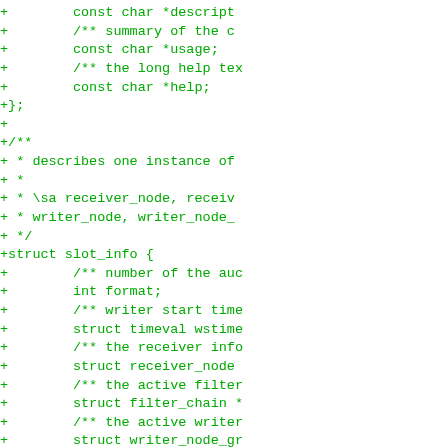[Figure (screenshot): Code diff showing C struct definitions in green monospace text on white background. Shows additions (lines prefixed with +) including struct fields for slot_info and status_task structures with comments.]